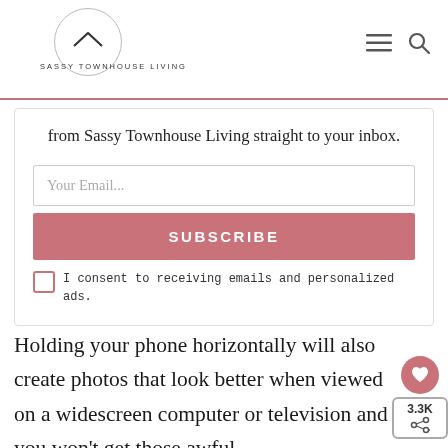[Figure (logo): Sassy Townhouse Living logo — circle with house roofline icon, text 'SASSY TOWNHOUSE LIVING' below]
from Sassy Townhouse Living straight to your inbox.
Your Email...
SUBSCRIBE
I consent to receiving emails and personalized ads.
Holding your phone horizontally will also create photos that look better when viewed on a widescreen computer or television and you won't get those awful